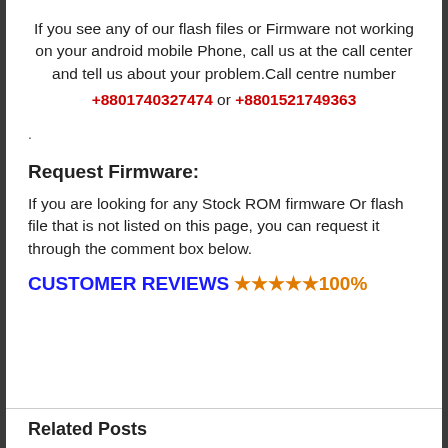If you see any of our flash files or Firmware not working on your android mobile Phone, call us at the call center and tell us about your problem.Call centre number +8801740327474 or +8801521749363
.
Request Firmware:
If you are looking for any Stock ROM firmware Or flash file that is not listed on this page, you can request it through the comment box below.
CUSTOMER REVIEWS ★★★★★100%
Related Posts